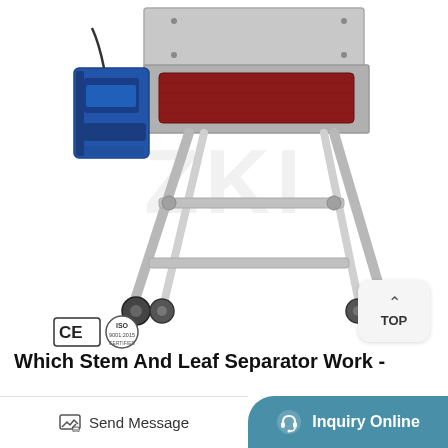[Figure (photo): A stem and leaf separator machine on a stainless steel stand with wheels. The machine has a blue motor on the left side and a red roller visible in the center. The stand is made of silver/stainless steel tubing with four castor wheels. CE and ISO certification logos appear in the lower left of the image. A watermark 'ZKI' is faintly visible in the center.]
Which Stem And Leaf Separator Work -
Send Message
Inquiry Online